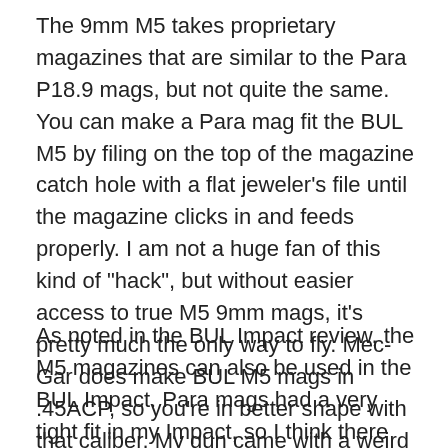The 9mm M5 takes proprietary magazines that are similar to the Para P18.9 mags, but not quite the same. You can make a Para mag fit the BUL M5 by filing on the top of the magazine catch hole with a flat jeweler’s file until the magazine clicks in and feeds properly. I am not a huge fan of this kind of “hack”, but without easier access to true M5 9mm mags, it’s pretty much the only way to fly. Mec-Gar does make BUL M5 mags in .45ACP, so you’re in better shape with that caliber. My gun came with a weird chopped magazine from the federal AWB 10rd magazine limit era, and it did not inspire much confidence – I guess those Para mags are looking better?
As noted in the BUL Impact review, the M5 magazines can also be used in the BUL Impact. Para mags had a very tight fit in my Impact, so I think there are slight dimensional differences in the Para and BUL mag bodies. They were